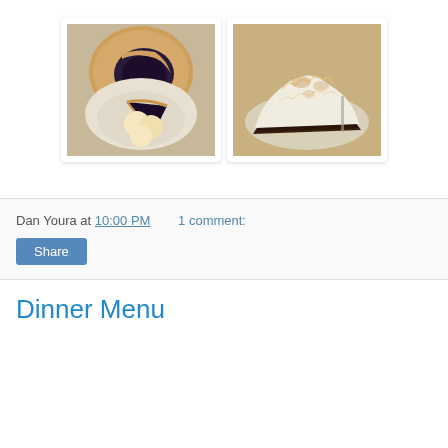[Figure (photo): Two photos side by side: left photo shows a whole blueberry pie in a tin and a slice of blueberry pie with vanilla ice cream on a white plate; right photo shows a slice of chocolate meringue pie on a white plate.]
Dan Youra at 10:00 PM    1 comment:
Share
Dinner Menu